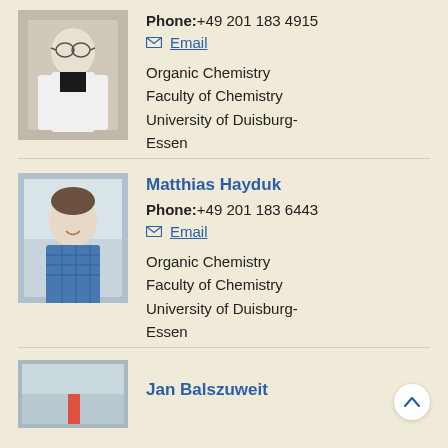[Figure (photo): Photo of first person (male, white lab coat, glasses)]
Phone: +49 201 183 4915
Email
Organic Chemistry
Faculty of Chemistry
University of Duisburg-Essen
[Figure (photo): Photo of Matthias Hayduk (male, blue checkered shirt, smiling)]
Matthias Hayduk
Phone: +49 201 183 6443
Email
Organic Chemistry
Faculty of Chemistry
University of Duisburg-Essen
[Figure (photo): Partial photo of Jan Balszuweit]
Jan Balszuweit